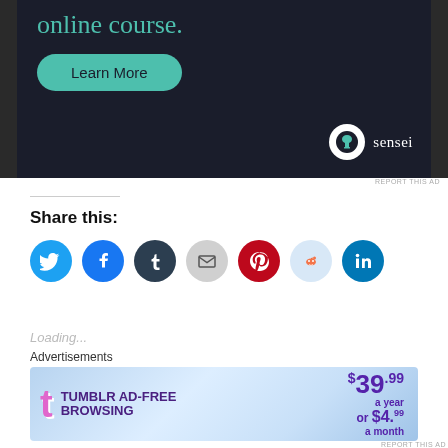[Figure (illustration): Dark navy advertisement banner with teal text 'online course.' and a teal rounded 'Learn More' button. Bottom right shows sensei logo (white circle with tree icon) and 'sensei' text in white.]
REPORT THIS AD
Share this:
[Figure (infographic): Row of social media sharing icons: Twitter (blue), Facebook (blue), Tumblr (dark navy), Email (light gray), Pinterest (red), Reddit (light blue), LinkedIn (teal blue)]
Loading...
Advertisements
[Figure (illustration): Tumblr Ad-Free Browsing advertisement banner. Blue gradient background. Pink Tumblr T logo on left. Text: TUMBLR AD-FREE BROWSING. Price: $39.99 a year or $4.99 a month on right.]